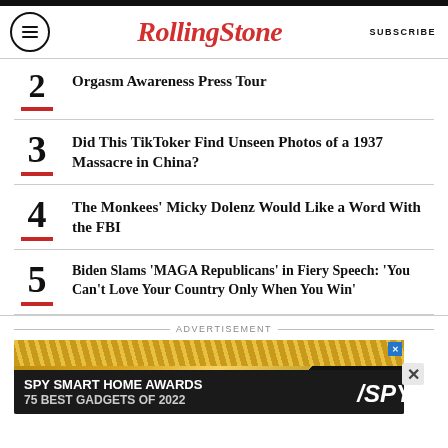RollingStone | SUBSCRIBE
2 Orgasm Awareness Press Tour
3 Did This TikToker Find Unseen Photos of a 1937 Massacre in China?
4 The Monkees' Micky Dolenz Would Like a Word With the FBI
5 Biden Slams 'MAGA Republicans' in Fiery Speech: 'You Can't Love Your Country Only When You Win'
[Figure (infographic): Advertisement banner: SPY SMART HOME AWARDS 75 BEST GADGETS OF 2022 with gold striped background and SPY logo]